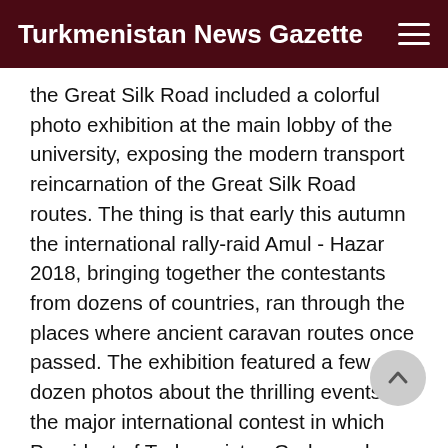Turkmenistan News Gazette
the Great Silk Road included a colorful photo exhibition at the main lobby of the university, exposing the modern transport reincarnation of the Great Silk Road routes. The thing is that early this autumn the international rally-raid Amul - Hazar 2018, bringing together the contestants from dozens of countries, ran through the places where ancient caravan routes once passed. The exhibition featured a few dozen photos about the thrilling events of the major international contest in which President of Turkmenistan Gurbanguly Berdimuhamedov also participated. The photos depicted all the details of the exciting race.
The atmosphere of friendly interactions at the festival contrasted rather sharply with the intense sport rivalry on the football grounds. Following the two-day tense competition, the